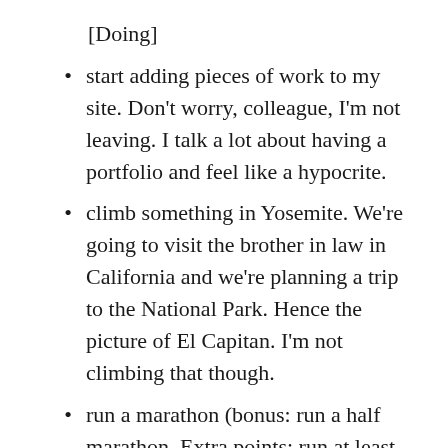[Doing]
start adding pieces of work to my site. Don't worry, colleague, I'm not leaving. I talk a lot about having a portfolio and feel like a hypocrite.
climb something in Yosemite. We're going to visit the brother in law in California and we're planning a trip to the National Park. Hence the picture of El Capitan. I'm not climbing that though.
run a marathon (bonus: run a half marathon. Extra points: run at least one 10k)